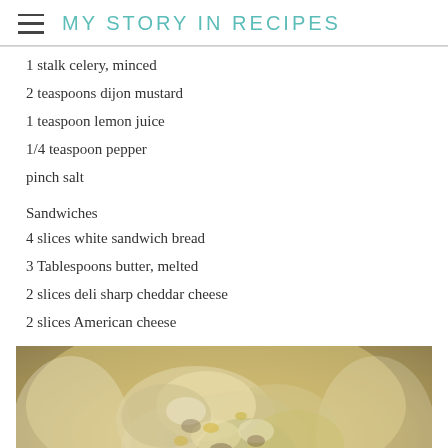MY STORY IN RECIPES
1 stalk celery, minced
2 teaspoons dijon mustard
1 teaspoon lemon juice
1/4 teaspoon pepper
pinch salt
Sandwiches
4 slices white sandwich bread
3 Tablespoons butter, melted
2 slices deli sharp cheddar cheese
2 slices American cheese
[Figure (photo): A bowl of tuna or chicken salad mixture, creamy with visible chunks, photographed from above on a white background]